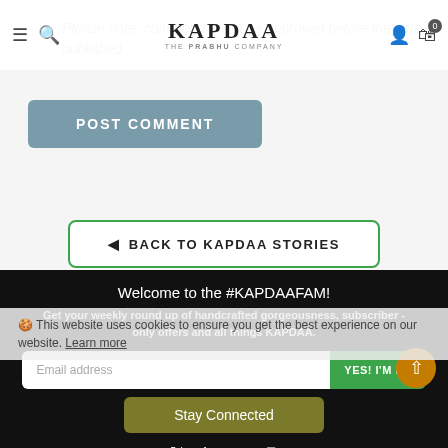KAPDAA THE PRABHU COMPANY
Please note, comments must be approved before they are published
POST COMMENT
◀ BACK TO KAPDAA STORIES
Welcome to the #KAPDAAFAM!
Get your weekly round up of handcrafted gorgeousness, subscriber - only offers and all things KAPDAA.
Email address
YES! I'M IN!
🍪 This website uses cookies to ensure you get the best experience on our website. Learn more
Stay Connected